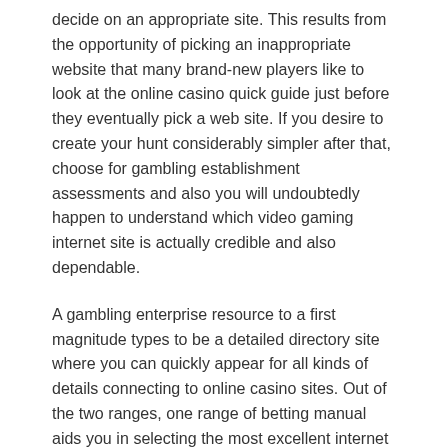decide on an appropriate site. This results from the opportunity of picking an inappropriate website that many brand-new players like to look at the online casino quick guide just before they eventually pick a web site. If you desire to create your hunt considerably simpler after that, choose for gambling establishment assessments and also you will undoubtedly happen to understand which video gaming internet site is actually credible and also dependable.
A gambling enterprise resource to a first magnitude types to be a detailed directory site where you can quickly appear for all kinds of details connecting to online casino sites. Out of the two ranges, one range of betting manual aids you in selecting the most excellent internet gambling enterprise web site through the method of high-quality testimonials of the on-call web sites. Each enhanced and also intermediary casino site gamers are going to be capable of taking support coming from any on the internet casino site resource.